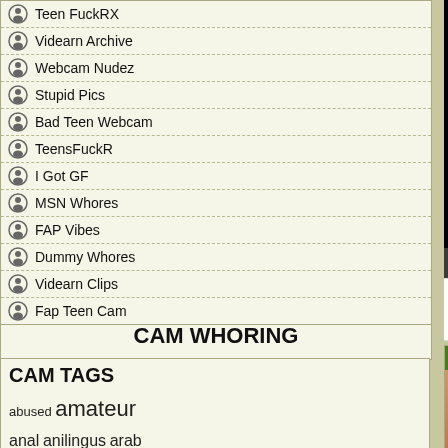Teen FuckRX
Videarn Archive
Webcam Nudez
Stupid Pics
Bad Teen Webcam
TeensFuckR
I Got GF
MSN Whores
FAP Vibes
Dummy Whores
Videarn Clips
Fap Teen Cam
[Figure (screenshot): Video player showing black screen with dark green border outline on right side, with playback controls bar below]
Duration: 10:02
Added date: 2021-07-28
Link & Share: http://stupidcams.com/video
CAM WHORING
CAM TAGS
abused amateur anal anilingus arab asian ass babysitter bang bates bathroom
Teens Experiment With Step
[Figure (photo): Thumbnail image of two young women in swimsuits/bikinis close together]